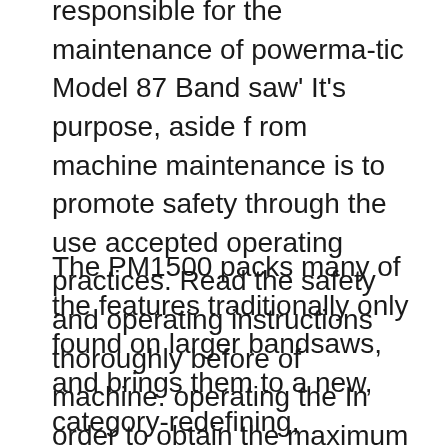responsible for the maintenance of powermatic Model 87 Band saw' It's purpose, aside from machine maintenance is to promote safety through the use accepted operating practices. Read the safety and operating instructions thoroughly before of machine. operating the In order to obtain the maximum efficiency from your Powermatic Band saw
The PM1500 packs many of the features traditionally only found on larger bandsaws, and brings them to a new, category-redefining, 15вЂ™вЂ™ size. As with every product Powermatic builds, the PM1500 pushes the limits of design, innovation, and durability. It truly is The Gold Standard. View and Download Powermatic 2000 operating instructions and